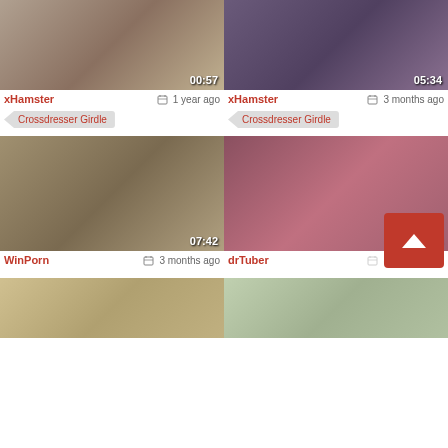[Figure (screenshot): Video thumbnail row 1 left with duration 00:57]
xHamster   1 year ago
Crossdresser Girdle
[Figure (screenshot): Video thumbnail row 1 right with duration 05:34]
xHamster   3 months ago
Crossdresser Girdle
[Figure (screenshot): Video thumbnail row 2 left with duration 07:42]
WinPorn   3 months ago
[Figure (screenshot): Video thumbnail row 2 right with duration 13:33]
drTuber   3 months ago
[Figure (screenshot): Video thumbnail row 3 left (partial)]
[Figure (screenshot): Video thumbnail row 3 right (partial)]